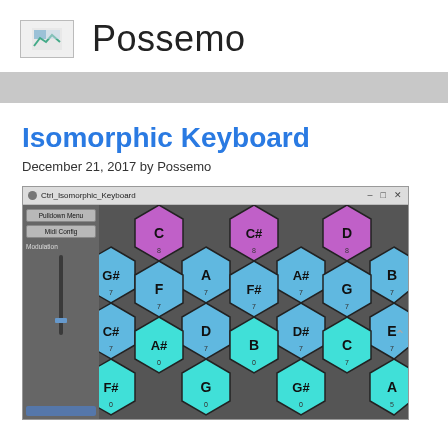Possemo
Isomorphic Keyboard
December 21, 2017 by Possemo
[Figure (screenshot): Screenshot of Ctrl_Isomorphic_Keyboard application window showing a hexagonal isomorphic keyboard layout with colored hexagonal keys labeled with musical notes (C, C#, D, G#, A, A#, B, F, F#, G, D, D#, E, A#, B, C, F#, G, G#, A). Keys are colored in purple/pink for some notes and blue/cyan for others. The window has a sidebar with Pulldown Menu, Midi Config buttons and a Modulation slider.]